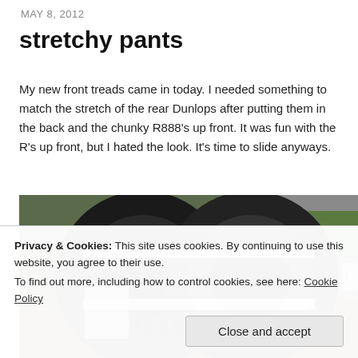MAY 8, 2012
stretchy pants
My new front treads came in today. I needed something to match the stretch of the rear Dunlops after putting them in the back and the chunky R888's up front. It was fun with the R's up front, but I hated the look. It's time to slide anyways.
[Figure (photo): Two car tires stacked together outdoors, bound with white straps, with green foliage and a concrete wall in the background.]
Privacy & Cookies: This site uses cookies. By continuing to use this website, you agree to their use.
To find out more, including how to control cookies, see here: Cookie Policy
Close and accept